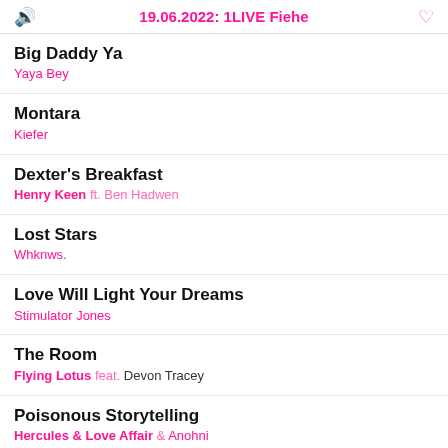19.06.2022: 1LIVE Fiehe
Big Daddy Ya / Yaya Bey
Montara / Kiefer
Dexter's Breakfast / Henry Keen ft. Ben Hadwen
Lost Stars / Whknws.
Love Will Light Your Dreams / Stimulator Jones
The Room / Flying Lotus feat. Devon Tracey
Poisonous Storytelling / Hercules & Love Affair & Anohni
Chick